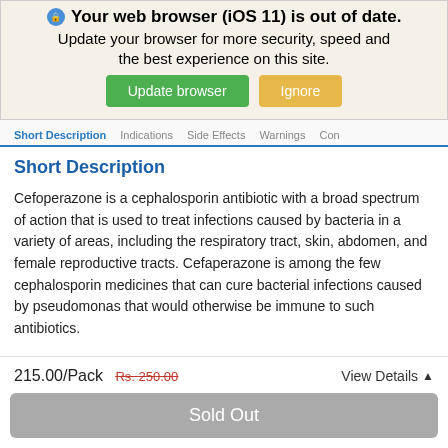[Figure (screenshot): Browser update notification banner with lock icon, bold text 'Your web browser (iOS 11) is out of date.', subtitle text 'Update your browser for more security, speed and the best experience on this site.', and two buttons: green 'Update browser' and gold/orange 'Ignore']
Short Description | Indications | Side Effects | Warnings | Con...
Short Description
Cefoperazone is a cephalosporin antibiotic with a broad spectrum of action that is used to treat infections caused by bacteria in a variety of areas, including the respiratory tract, skin, abdomen, and female reproductive tracts. Cefaperazone is among the few cephalosporin medicines that can cure bacterial infections caused by pseudomonas that would otherwise be immune to such antibiotics.
215.00/Pack Rs. 250.00
View Details ∧
Sold Out